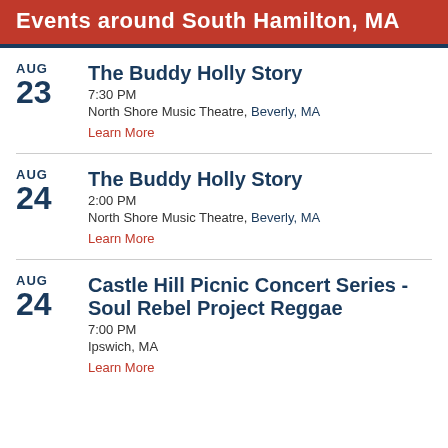Events around South Hamilton, MA
AUG 23 — The Buddy Holly Story, 7:30 PM, North Shore Music Theatre, Beverly, MA. Learn More
AUG 24 — The Buddy Holly Story, 2:00 PM, North Shore Music Theatre, Beverly, MA. Learn More
AUG 24 — Castle Hill Picnic Concert Series - Soul Rebel Project Reggae, 7:00 PM, Ipswich, MA. Learn More